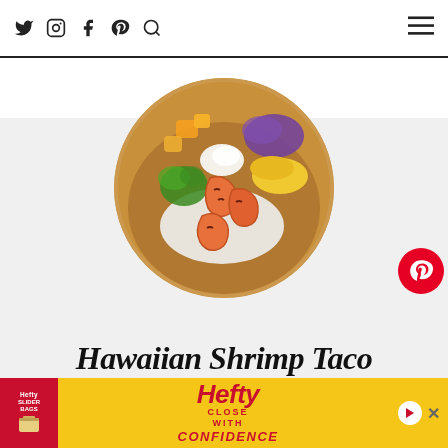Social media navigation icons (Twitter, Instagram, Facebook, Pinterest, Search) and hamburger menu
[Figure (photo): A wooden bowl filled with Hawaiian shrimp taco bowl ingredients: grilled shrimp, rice, mango chunks, purple cabbage, corn, cilantro, and white sour cream, photographed from above in a circular crop]
Hawaiian Shrimp Taco
[Figure (other): Hefty Slider Bags advertisement banner with red and yellow branding, text: CLOSE WITH CONFIDENCE]